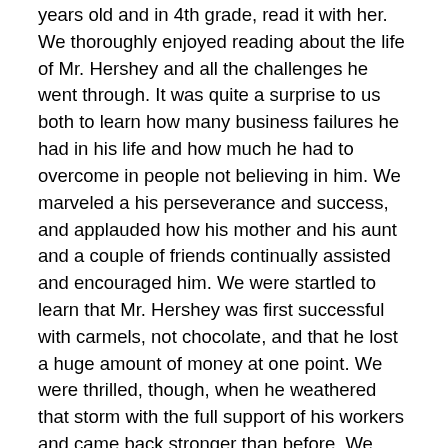years old and in 4th grade, read it with her. We thoroughly enjoyed reading about the life of Mr. Hershey and all the challenges he went through. It was quite a surprise to us both to learn how many business failures he had in his life and how much he had to overcome in people not believing in him. We marveled a his perseverance and success, and applauded how his mother and his aunt and a couple of friends continually assisted and encouraged him. We were startled to learn that Mr. Hershey was first successful with carmels, not chocolate, and that he lost a huge amount of money at one point. We were thrilled, though, when he weathered that storm with the full support of his workers and came back stronger than before. We were surprised to learn that he built a huge factory in Cuba to provide the sugar he needed at his Pennsylvania factory.
But most of all, we were so please to read about his